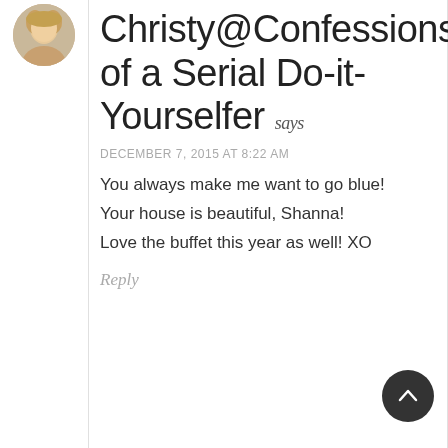[Figure (photo): Circular avatar photo of a blonde woman]
Christy@Confessions of a Serial Do-it-Yourselfer says
DECEMBER 7, 2015 AT 8:22 AM
You always make me want to go blue!
Your house is beautiful, Shanna!
Love the buffet this year as well! XO
Reply